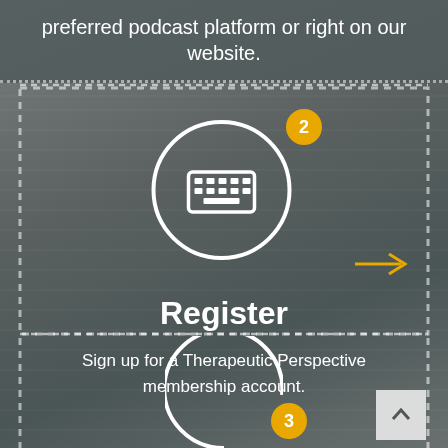preferred podcast platform or right on our website.
[Figure (infographic): Step 2 Register icon: a white circle with a keyboard icon inside, an orange badge with number 2, and an orange arrow pointing right]
Register
Sign up for a Therapeutic Perspective membership account.
[Figure (infographic): Step 3 icon: partial white circle with orange badge showing number 3 at the bottom of the page]